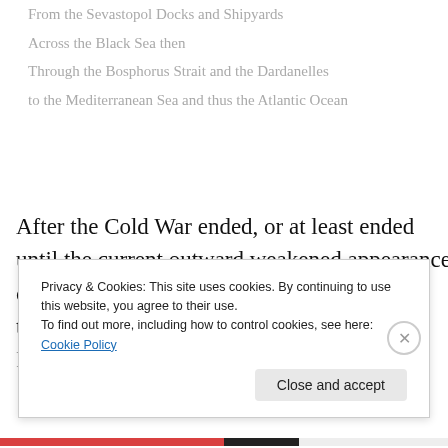From the Sevastopol Docks and Shipyards
Across the Black Sea then
Through the Bosphorus Strait and the Dardanelles
to the Mediterranean Sea and thus the Atlantic Ocean
After the Cold War ended, or at least ended until the current outward weakened appearance of the United States under President Obama, this tactical necessity for containing the Russian Atlantic fleet became far less
Privacy & Cookies: This site uses cookies. By continuing to use this website, you agree to their use.
To find out more, including how to control cookies, see here: Cookie Policy